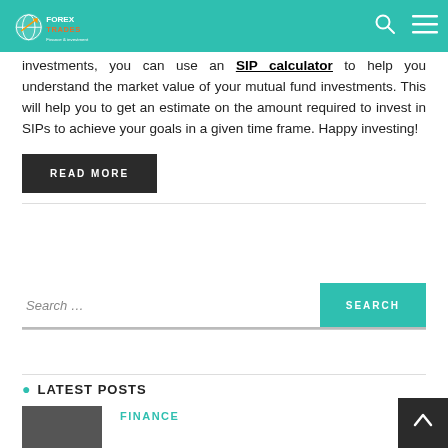Forex Trades Finance & Investment
investments, you can use an SIP calculator to help you understand the market value of your mutual fund investments. This will help you to get an estimate on the amount required to invest in SIPs to achieve your goals in a given time frame. Happy investing!
READ MORE
Search …
LATEST POSTS
FINANCE